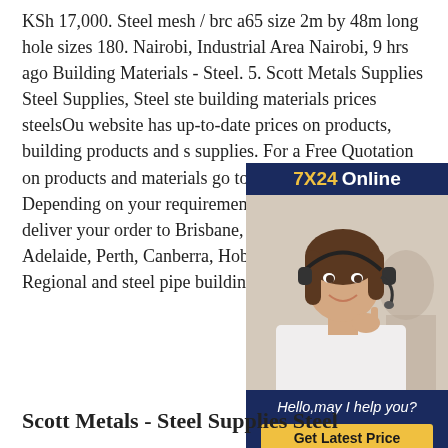KSh 17,000. Steel mesh / brc a65 size 2m by 48m long hole sizes 180. Nairobi, Industrial Area Nairobi, 9 hrs ago Building Materials - Steel. 5. Scott Metals Supplies Steel Supplies, Steel ste... building materials prices steelsOu... website has up-to-date prices on ... products, building products and s... supplies. For a Free Quotation on... products and materials go to our ... Info page. Depending on your requirements, we can fabricate an... deliver your order to Brisbane, Sydney, Melbourne, Adelaide, Perth, Canberra, Hobart, Darwin and all Regional and steel pipe building materials prices steels
[Figure (other): Online chat widget with a customer service representative wearing a headset, showing '7X24 Online' header, a photo of a smiling woman with headset, 'Hello, may I help you?' text, and a 'Get Latest Price' yellow button]
Scott Metals - Steel Supplies Steel